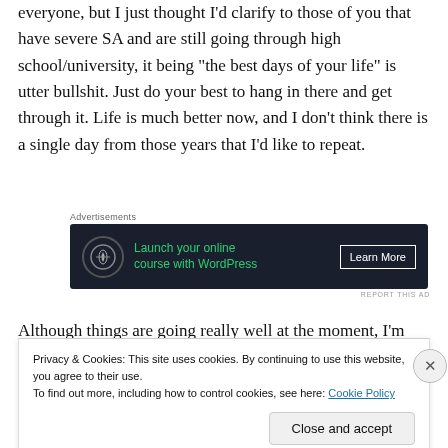everyone, but I just thought I'd clarify to those of you that have severe SA and are still going through high school/university, it being “the best days of your life” is utter bullshit. Just do your best to hang in there and get through it. Life is much better now, and I don’t think there is a single day from those years that I’d like to repeat.
[Figure (screenshot): Dark advertisement banner for launching online course with WordPress, with a Learn More button]
Although things are going really well at the moment, I’m
Privacy & Cookies: This site uses cookies. By continuing to use this website, you agree to their use.
To find out more, including how to control cookies, see here: Cookie Policy
Close and accept